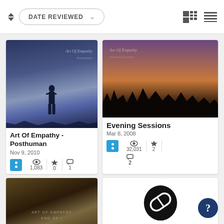DATE REVIEWED
[Figure (photo): Album cover for Art Of Empathy - Posthuman, dark blue toned image with silhouetted figure]
Art Of Empathy - Posthuman
Nov 9, 2010
1,083 views, 0 stars, 1 comment
[Figure (photo): Album cover for Evening Sessions, sunset with tree silhouettes]
Evening Sessions
Mar 8, 2008
32,031 views, 2 stars, 2 comments
[Figure (photo): Partial album cover, Art Of Empathy sepia toned]
[Figure (logo): Tunedose logo - pill icon in black circle with TUNEDOSE text]